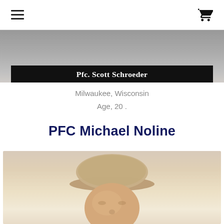navigation header with hamburger menu and cart icon
[Figure (photo): Black nameplate or memorial plaque showing 'Pfc. Scott Schroeder' in white bold serif text on black background, with a blurred background image above it]
Milwaukee, Wisconsin
Age, 20 .
PFC Michael Noline
[Figure (photo): Partial portrait photo of a person wearing a tan/beige hat, face visible from approximately nose up, blurred background]